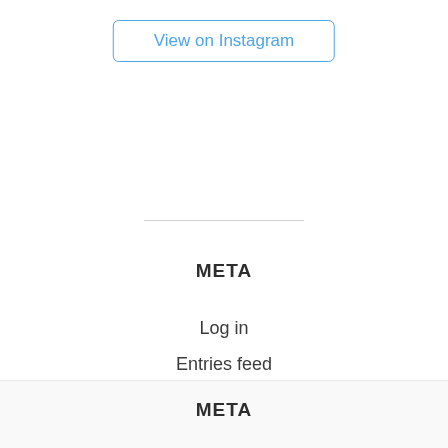View on Instagram
META
Log in
Entries feed
Comments feed
WordPress.org
META